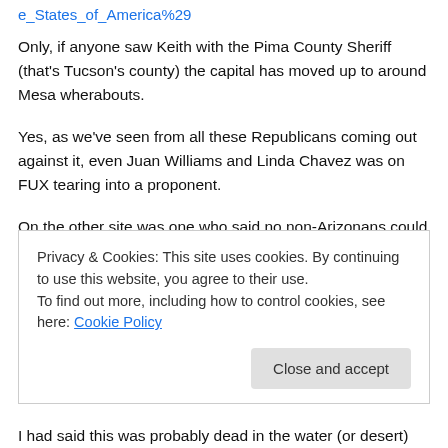e_States_of_America%29
Only, if anyone saw Keith with the Pima County Sheriff (that's Tucson's county) the capital has moved up to around Mesa wherabouts.
Yes, as we've seen from all these Republicans coming out against it, even Juan Williams and Linda Chavez was on FUX tearing into a proponent.
On the other site was one who said no non-Arizonans could comment.
Talk about one right over the plate! And, that no other states have a right to complain (see: Mississippi). In any case, I assured everyone they surely can pile onto Arizona.
Privacy & Cookies: This site uses cookies. By continuing to use this website, you agree to their use.
To find out more, including how to control cookies, see here: Cookie Policy
I had said this was probably dead in the water (or desert)